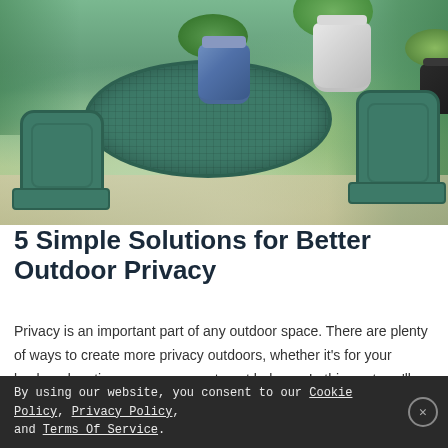[Figure (photo): Outdoor patio scene with green cast-iron bistro table and chairs, flower pots including a blue decorative pot, white pot, and black pot on the table, surrounded by lush green foliage and ivy in the background. Stone patio flooring visible.]
5 Simple Solutions for Better Outdoor Privacy
Privacy is an important part of any outdoor space. There are plenty of ways to create more privacy outdoors, whether it's for your backyard, patio, or even an apartment balcony. In this post, we'll cover some simple solutions that will help you get started!
By using our website, you consent to our Cookie Policy, Privacy Policy, and Terms Of Service.